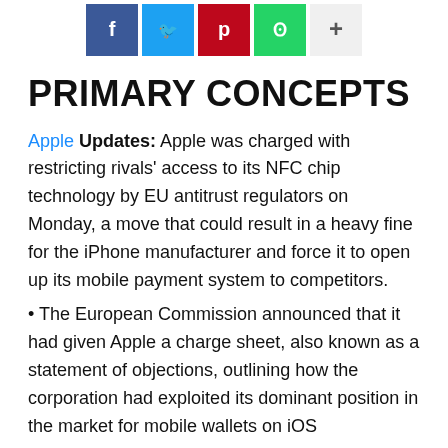[Figure (other): Social media share buttons row: Facebook (blue), Twitter (light blue), Pinterest (red), WhatsApp (green), and a plus/more button (gray)]
PRIMARY CONCEPTS
Apple Updates: Apple was charged with restricting rivals' access to its NFC chip technology by EU antitrust regulators on Monday, a move that could result in a heavy fine for the iPhone manufacturer and force it to open up its mobile payment system to competitors.
The European Commission announced that it had given Apple a charge sheet, also known as a statement of objections, outlining how the corporation had exploited its dominant position in the market for mobile wallets on iOS